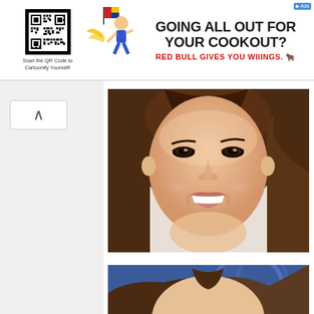[Figure (other): Advertisement banner: QR code on left with text 'Scan the QR Code to Cartoonify Yourself!', cartoon mascot figure in center, large text 'GOING ALL OUT FOR YOUR COOKOUT?' with Red Bull logo and tagline 'RED BULL GIVES YOU WIIINGS.' on right. Small 'Ads by Google' arrow in top right corner.]
[Figure (photo): Close-up portrait photo of a young woman with long brown hair, smiling with white teeth, light skin, wearing minimal makeup. Photo cropped to show face and upper neck/shoulders area.]
[Figure (photo): Partial photo of another person with brown hair against a blue background with circular logo elements. Only the top of the head and upper face visible as the photo is cropped at the bottom of the page.]